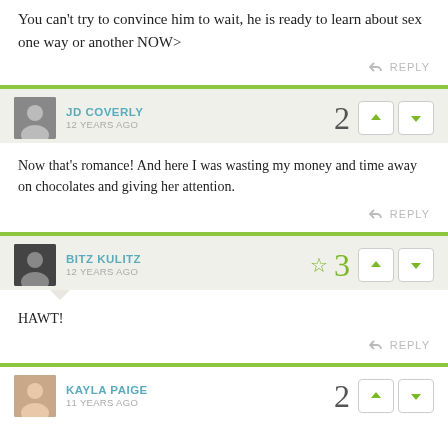You can't try to convince him to wait, he is ready to learn about sex one way or another NOW>
REPLY
JD COVERLY
12 YEARS AGO
2
Now that's romance! And here I was wasting my money and time away on chocolates and giving her attention.
REPLY
BITZ KULITZ
12 YEARS AGO
3
HAWT!
REPLY
KAYLA PAIGE
11 YEARS AGO
2